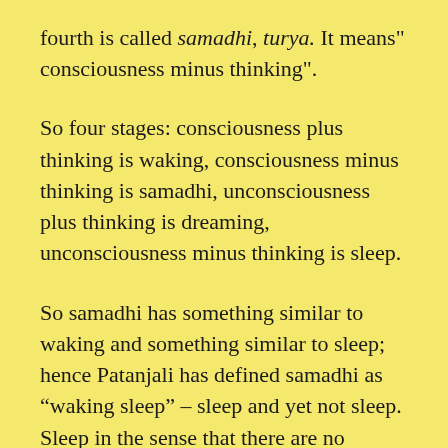fourth is called samadhi, turya. It means" consciousness minus thinking".
So four stages: consciousness plus thinking is waking, consciousness minus thinking is samadhi, unconsciousness plus thinking is dreaming, unconsciousness minus thinking is sleep.
So samadhi has something similar to waking and something similar to sleep; hence Patanjali has defined samadhi as “waking sleep” – sleep and yet not sleep. Sleep in the sense that there are no thoughts now, no dreams. And not sleep in the sense that you are perfectly aware, that the light of your awareness is there, that you